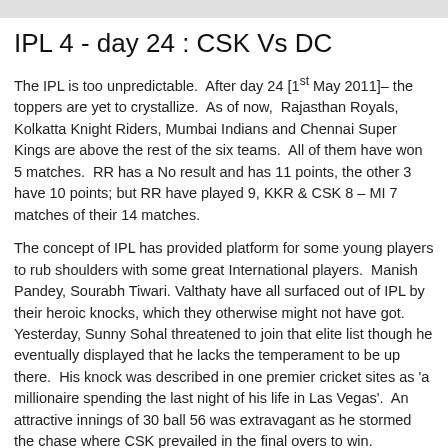IPL 4 - day 24 : CSK Vs DC
The IPL is too unpredictable.  After day 24 [1st May 2011]– the toppers are yet to crystallize.  As of now,  Rajasthan Royals, Kolkatta Knight Riders, Mumbai Indians and Chennai Super Kings are above the rest of the six teams.  All of them have won 5 matches.  RR has a No result and has 11 points, the other 3 have 10 points; but RR have played 9, KKR & CSK 8 – MI 7 matches of their 14 matches.
The concept of IPL has provided platform for some young players to rub shoulders with some great International players.  Manish Pandey, Sourabh Tiwari. Valthaty have all surfaced out of IPL by their heroic knocks, which they otherwise might not have got.  Yesterday, Sunny Sohal threatened to join that elite list though he eventually displayed that he lacks the temperament to be up there.  His knock was described in one premier cricket sites as 'a millionaire spending the last night of his life in Las Vegas'.  An attractive innings of 30 ball 56 was extravagant as he stormed the chase where CSK prevailed in the final overs to win.  Chennai master minded by Dhoni is displaying consistency, form and sanity